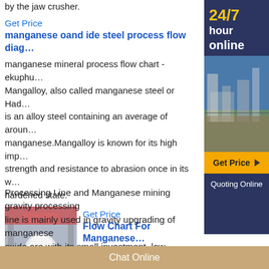by the jaw crusher.
Get Price
manganese oand ide steel process flow diag…
manganese mineral process flow chart - ekuphu… Mangalloy, also called manganese steel or Had… is an alloy steel containing an average of aroun… manganese.Mangalloy is known for its high imp… strength and resistance to abrasion once in its w… hardened state.
[Figure (photo): Industrial machinery in a factory setting, likely a mining or processing machine.]
Get Price
Flow Chart For Manganese… premiertrak
Manganese Ore Beneficiation Processing Line and Manganese mining gravity processing line is mainly used in gravity upgrading of manganese oxide ore with its small investment, low operation cost 2
[Figure (infographic): Sidebar: 24/7 hour online with Get Price and Quoting Online buttons, industrial facility photo.]
Chat Online